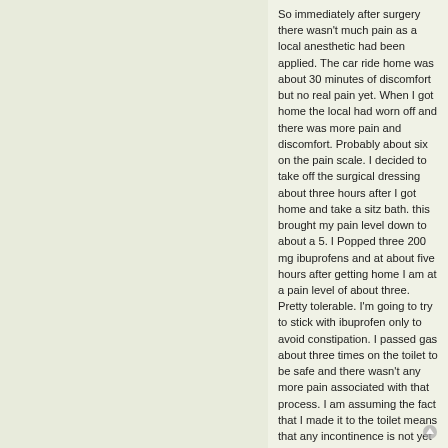So immediately after surgery there wasn't much pain as a local anesthetic had been applied. The car ride home was about 30 minutes of discomfort but no real pain yet. When I got home the local had worn off and there was more pain and discomfort. Probably about six on the pain scale. I decided to take off the surgical dressing about three hours after I got home and take a sitz bath. this brought my pain level down to about a 5. I Popped three 200 mg ibuprofens and at about five hours after getting home I am at a pain level of about three. Pretty tolerable. I'm going to try to stick with ibuprofen only to avoid constipation. I passed gas about three times on the toilet to be safe and there wasn't any more pain associated with that process. I am assuming the fact that I made it to the toilet means that any incontinence is not yet present.

Be happy to answer any questions if you guys have them.